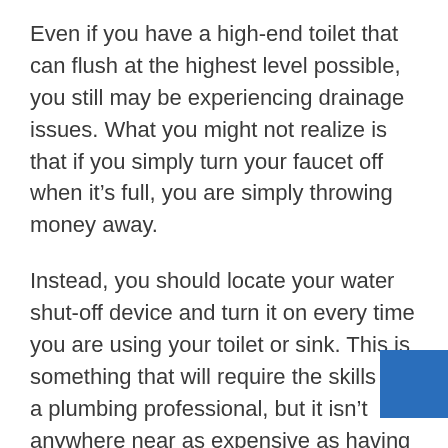Even if you have a high-end toilet that can flush at the highest level possible, you still may be experiencing drainage issues. What you might not realize is that if you simply turn your faucet off when it’s full, you are simply throwing money away.
Instead, you should locate your water shut-off device and turn it on every time you are using your toilet or sink. This is something that will require the skills of a plumbing professional, but it isn’t anywhere near as expensive as having your drain blocked.
In fact, you will end up saving money that you would have otherwise wasted on unnecessary repairs. Regardless of whether you choose to repair blocked drains in your home on your own or bring in a